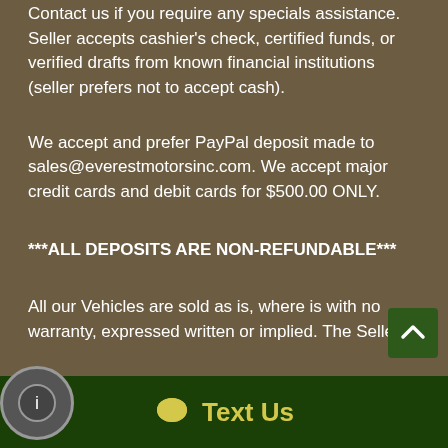Contact us if you require any specials assistance. Seller accepts cashier's check, certified funds, or verified drafts from known financial institutions (seller prefers not to accept cash).
We accept and prefer PayPal deposit made to sales@everestmotorsinc.com. We accept major credit cards and debit cards for $500.00 ONLY.
***ALL DEPOSITS ARE NON-REFUNDABLE***
All our Vehicles are sold as is, where is with no warranty, expressed written or implied. The Seller
[Figure (other): Dark green scroll-to-top button with white chevron/caret arrow pointing up, positioned bottom right]
[Figure (other): Dark green bottom bar with yellow speech bubble chat icon and 'Text Us' text in yellow]